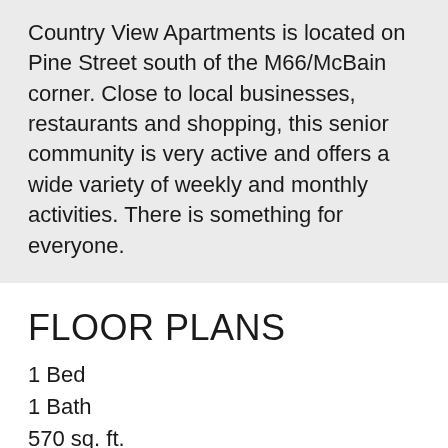Country View Apartments is located on Pine Street south of the M66/McBain corner. Close to local businesses, restaurants and shopping, this senior community is very active and offers a wide variety of weekly and monthly activities. There is something for everyone.
FLOOR PLANS
1 Bed
1 Bath
570 sq. ft.
2 Bed
1 Bath
635 sq. ft.